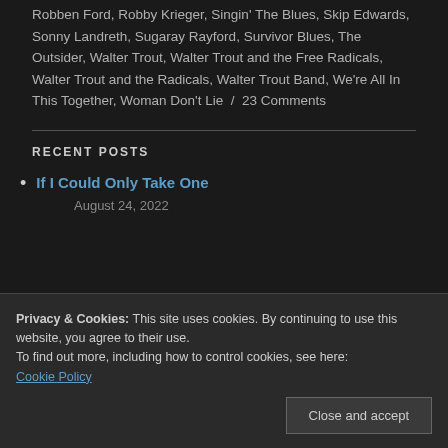Robben Ford, Robby Krieger, Singin' The Blues, Skip Edwards, Sonny Landreth, Sugaray Rayford, Survivor Blues, The Outsider, Walter Trout, Walter Trout and the Free Radicals, Walter Trout and the Radicals, Walter Trout Band, We're All In This Together, Woman Don't Lie / 23 Comments
RECENT POSTS
If I Could Only Take One — August 24, 2022
Privacy & Cookies: This site uses cookies. By continuing to use this website, you agree to their use. To find out more, including how to control cookies, see here: Cookie Policy
Close and accept
August 21, 2022